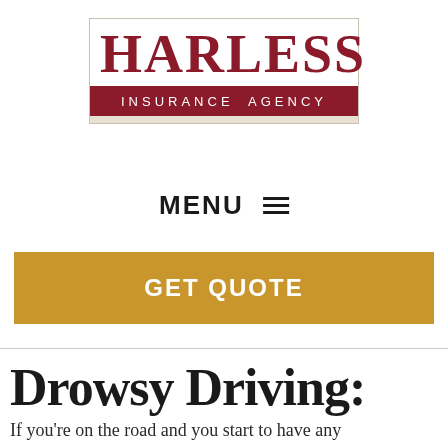[Figure (logo): Harless Insurance Agency logo with large red serif text 'HARLESS' above a dark red banner reading 'INSURANCE AGENCY' in white spaced capitals]
MENU ☰
GET QUOTE
Drowsy Driving:
If you're on the road and you start to have any